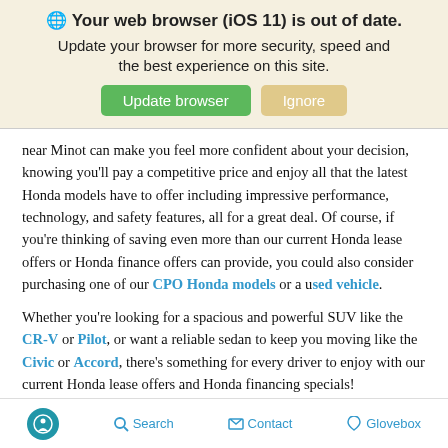[Figure (screenshot): Browser update banner with globe icon, bold warning text 'Your web browser (iOS 11) is out of date.', subtitle text, green 'Update browser' button, and tan 'Ignore' button on a light yellow background.]
near Minot can make you feel more confident about your decision, knowing you'll pay a competitive price and enjoy all that the latest Honda models have to offer including impressive performance, technology, and safety features, all for a great deal. Of course, if you're thinking of saving even more than our current Honda lease offers or Honda finance offers can provide, you could also consider purchasing one of our CPO Honda models or a used vehicle.
Whether you're looking for a spacious and powerful SUV like the CR-V or Pilot, or want a reliable sedan to keep you moving like the Civic or Accord, there's something for every driver to enjoy with our current Honda lease offers and Honda financing specials!
Schedule a Test Drive in Your Next Honda
Accessibility  Search  Contact  Glovebox